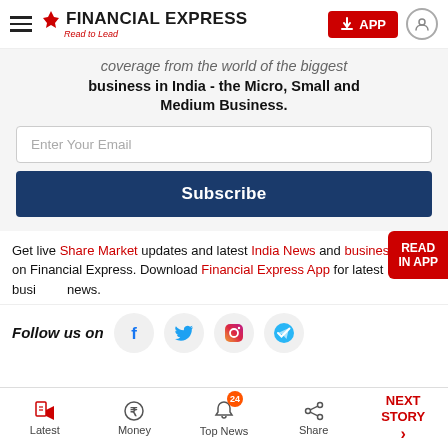Financial Express - Read to Lead
coverage from the world of the biggest business in India - the Micro, Small and Medium Business.
Enter Your Email
Subscribe
Get live Share Market updates and latest India News and business news on Financial Express. Download Financial Express App for latest business news.
Follow us on
Latest | Money | Top News (24) | Share | NEXT STORY